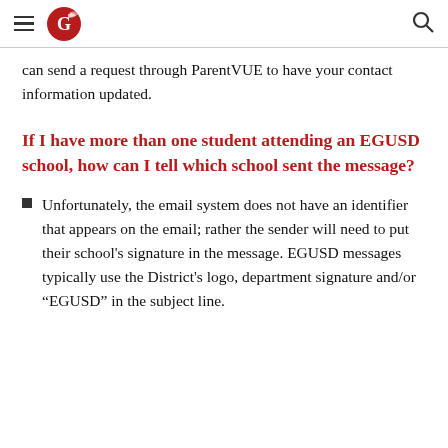EGUSD school website header with hamburger menu, logo, and search icon
can send a request through ParentVUE to have your contact information updated.
If I have more than one student attending an EGUSD school, how can I tell which school sent the message?
Unfortunately, the email system does not have an identifier that appears on the email; rather the sender will need to put their school's signature in the message. EGUSD messages typically use the District's logo, department signature and/or “EGUSD” in the subject line.